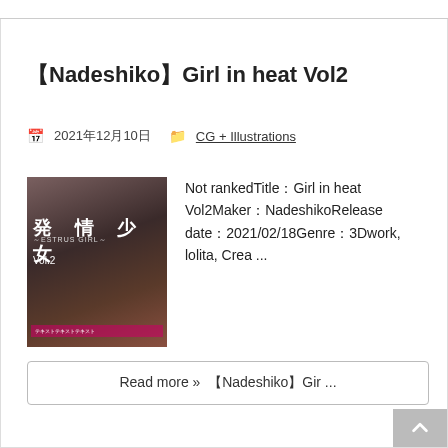【Nadeshiko】Girl in heat Vol2
🗓 2021年12月10日  📁 CG + Illustrations
[Figure (photo): Thumbnail image for 発情少女 (Girl in heat) Vol.2 showing an anime-style 3D render of a girl with glasses]
Not rankedTitle：Girl in heat Vol2Maker：NadeshikoRelease date：2021/02/18Genre：3Dwork, lolita, Crea ...
Read more »  【Nadeshiko】Gir ...